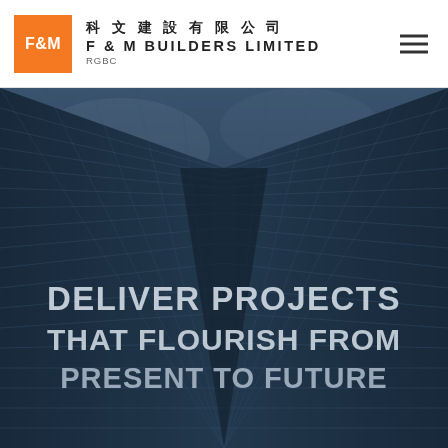科文建設有限公司 F & M BUILDERS LIMITED RGBC
[Figure (photo): Looking-up architectural photo of glass skyscraper facade with geometric grid pattern, dark blue-gray tinted, with text overlay reading DELIVER PROJECTS THAT FLOURISH FROM PRESENT TO FUTURE]
DELIVER PROJECTS THAT FLOURISH FROM PRESENT TO FUTURE